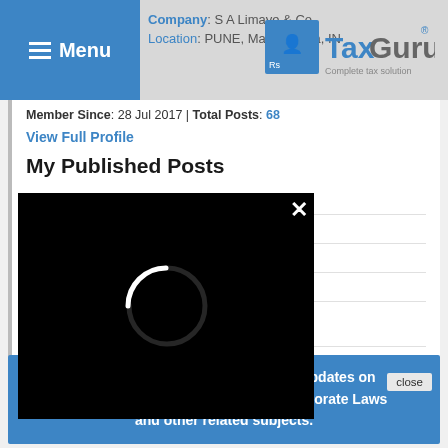Menu | TaxGuru - Complete tax solution
Company: S A Limaye & Co.
Location: PUNE, Maharashtra, IN
Member Since: 28 Jul 2017 | Total Posts: 68
View Full Profile
My Published Posts
How to read tax judgements
Why we need a Direct Tax Code – Part – II
...e – Part I
...n-settling the law
...s Notices – Using Missile ...ed
[Figure (screenshot): Black modal popup with loading spinner (arc/crescent shape) and close X button in top right corner]
Join Taxguru's Network for Latest updates on Income Tax, GST, Company Law, Corporate Laws and other related subjects.